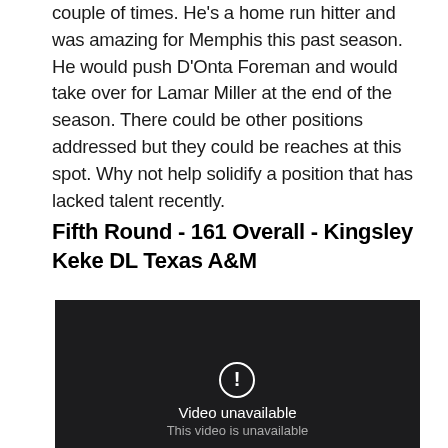couple of times. He's a home run hitter and was amazing for Memphis this past season. He would push D'Onta Foreman and would take over for Lamar Miller at the end of the season. There could be other positions addressed but they could be reaches at this spot. Why not help solidify a position that has lacked talent recently.
Fifth Round - 161 Overall - Kingsley Keke DL Texas A&M
[Figure (other): Embedded video player showing 'Video unavailable' error message on dark background]